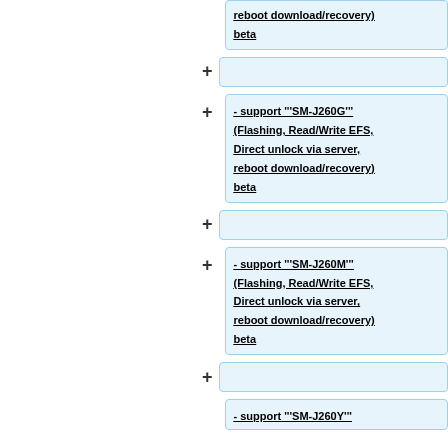reboot download/recovery) beta
- support '''SM-J260G''' (Flashing, Read/Write EFS, Direct unlock via server, reboot download/recovery) beta
- support '''SM-J260M''' (Flashing, Read/Write EFS, Direct unlock via server, reboot download/recovery) beta
- support '''SM-J260Y'''